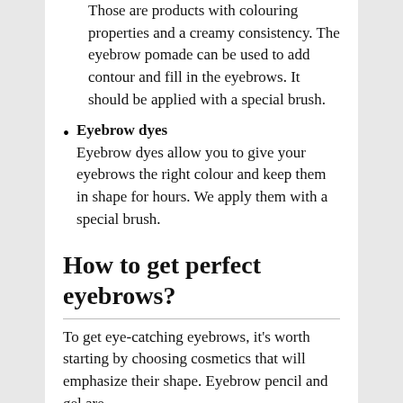Those are products with colouring properties and a creamy consistency. The eyebrow pomade can be used to add contour and fill in the eyebrows. It should be applied with a special brush.
Eyebrow dyes
Eyebrow dyes allow you to give your eyebrows the right colour and keep them in shape for hours. We apply them with a special brush.
How to get perfect eyebrows?
To get eye-catching eyebrows, it's worth starting by choosing cosmetics that will emphasize their shape. Eyebrow pencil and gel are